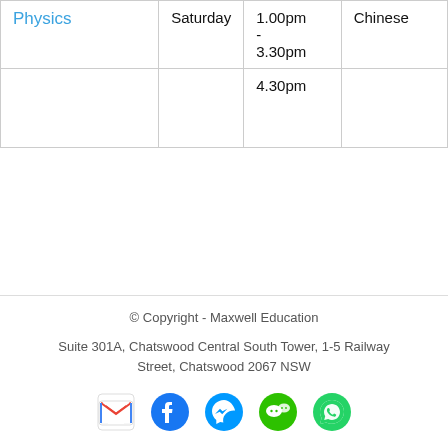| Subject | Day | Time | Language |
| --- | --- | --- | --- |
| Physics | Saturday | 1.00pm - 3.30pm | Chinese |
|  |  | 4.30pm |  |
© Copyright - Maxwell Education
Suite 301A, Chatswood Central South Tower, 1-5 Railway Street, Chatswood 2067 NSW